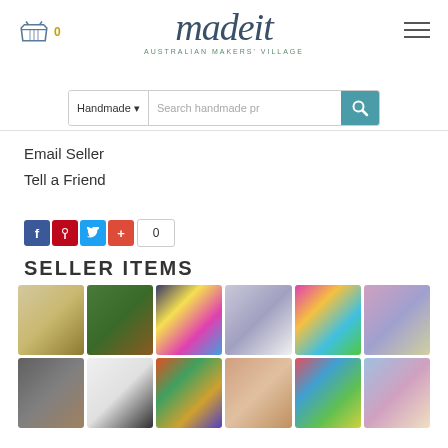[Figure (screenshot): madeit Australian Makers' Village website header with logo, basket icon showing 0, hamburger menu, and search bar with Handmade dropdown]
Email Seller
Tell a Friend
[Figure (infographic): Social share buttons: Facebook (f), Pinterest (P), Twitter bird, Google+ (+), share count showing 0]
SELLER ITEMS
[Figure (photo): Grid of 12 seller item thumbnail photos showing handmade jewellery and accessories]
[Figure (photo): Thumbnail 1: colourful beads on fabric]
[Figure (photo): Thumbnail 2: green mosaic phone case]
[Figure (photo): Thumbnail 3: colourful fabric triangle with dark background]
[Figure (photo): Thumbnail 4: grey and white scrunchie flower]
[Figure (photo): Thumbnail 5: colourful floral fabric]
[Figure (photo): Thumbnail 6: bracelet on wood]
[Figure (photo): Thumbnail 7: dark stone held in hand]
[Figure (photo): Thumbnail 8: black and white polka dot earrings]
[Figure (photo): Thumbnail 9: colourful bracelet]
[Figure (photo): Thumbnail 10: teardrop earrings]
[Figure (photo): Thumbnail 11: colourful earrings on wood]
[Figure (photo): Thumbnail 12: pearl bracelet]